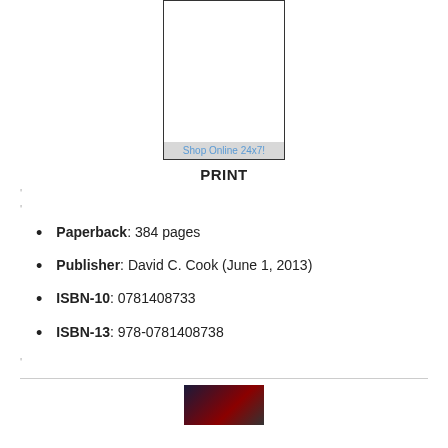[Figure (illustration): Book cover image placeholder with a gray 'Shop Online 24x7!' bar at the bottom]
PRINT
'
'
Paperback: 384 pages
Publisher: David C. Cook (June 1, 2013)
ISBN-10: 0781408733
ISBN-13: 978-0781408738
'
[Figure (photo): Small dark image at the bottom of the page]